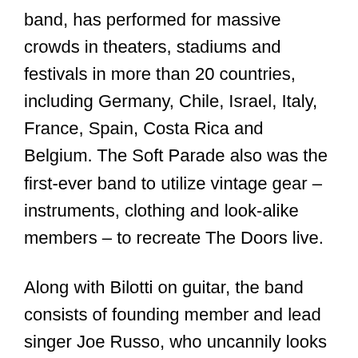band, has performed for massive crowds in theaters, stadiums and festivals in more than 20 countries, including Germany, Chile, Israel, Italy, France, Spain, Costa Rica and Belgium. The Soft Parade also was the first-ever band to utilize vintage gear – instruments, clothing and look-alike members – to recreate The Doors live.
Along with Bilotti on guitar, the band consists of founding member and lead singer Joe Russo, who uncannily looks like Morrison and possesses an innate ability to channel the power, intensity and charisma of the rock legend. Mike Abel on keyboards and Vic Ruiz